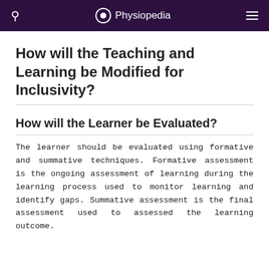Physiopedia
How will the Teaching and Learning be Modified for Inclusivity?
How will the Learner be Evaluated?
The learner should be evaluated using formative and summative techniques. Formative assessment is the ongoing assessment of learning during the learning process used to monitor learning and identify gaps. Summative assessment is the final assessment used to assessed the learning outcome.